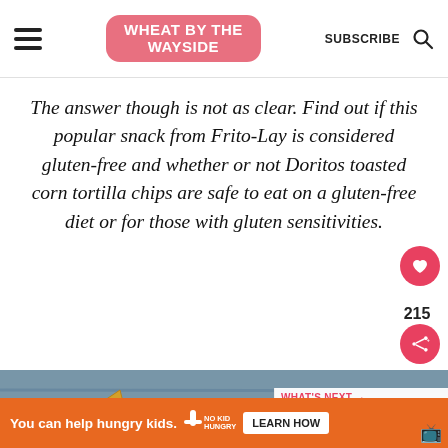WHEAT BY THE WAYSIDE | SUBSCRIBE
The answer though is not as clear. Find out if this popular snack from Frito-Lay is considered gluten-free and whether or not Doritos toasted corn tortilla chips are safe to eat on a gluten-free diet or for those with gluten sensitivities.
[Figure (photo): Doritos tortilla chips scattered on a blue-gray wooden surface background]
WHAT'S NEXT → Are Funyuns Gluten-free?
You can help hungry kids. NO KID HUNGRY LEARN HOW